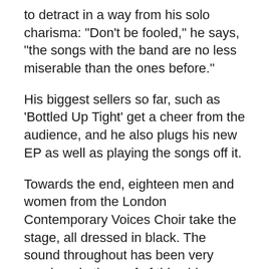to detract in a way from his solo charisma: "Don't be fooled," he says, "the songs with the band are no less miserable than the ones before."
His biggest sellers so far, such as 'Bottled Up Tight' get a cheer from the audience, and he also plugs his new EP as well as playing the songs off it.
Towards the end, eighteen men and women from the London Contemporary Voices Choir take the stage, all dressed in black. The sound throughout has been very good, up in the roof of this old Victorian church but the choir seem drowned out by the instruments.
The band's second song with the choir is 'Nearly Morning' from the new 'Tornados' EP for which Luke sits at the piano. It sounds a bit, favourably, like Chrissie Hynde in the Pretenders' more contemplative moments, both through the piano-playing and the vocal inflections.